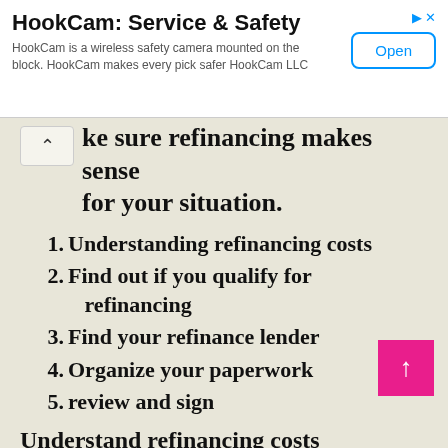[Figure (other): Advertisement banner for HookCam: Service & Safety app with Open button]
ke sure refinancing makes sense for your situation.
1. Understanding refinancing costs
2. Find out if you qualify for refinancing
3. Find your refinance lender
4. Organize your paperwork
5. review and sign
Understand refinancing costs